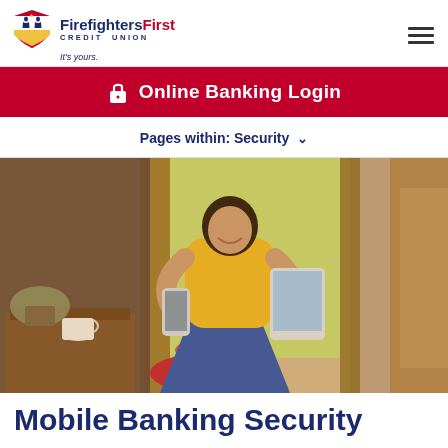[Figure (logo): Firefighters First Credit Union logo with shield icon, text 'FirefightersFirst CREDIT UNION' and tagline 'It's yours.']
Online Banking Login
Pages within: Security
[Figure (photo): Woman sitting by a window, smiling, holding a smartphone and a tablet, wearing a yellow cardigan and blue jeans, with home decor visible in background.]
Mobile Banking Security